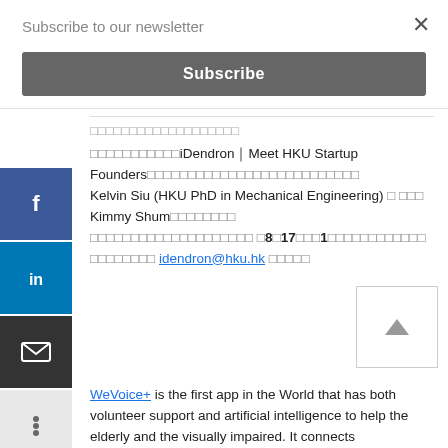Subscribe to our newsletter
Subscribe
□□□□□□□□□□□□□□□□□□□
□□□□□□□□□□□iDendron｜Meet HKU Startup Founders□□□□□□□□□□□□□□□□□□□□□□□□□□□□ Kelvin Siu (HKU PhD in Mechanical Engineering) □ □□□ Kimmy Shum□□□□□□□□□□□□□□□□□□□□□□ □8□17□□□1□□□□□□□□□□ □□□□□□□□ idendron@hku.hk □□□□□
WeVoice+ is the first app in the World that has both volunteer support and artificial intelligence to help the elderly and the visually impaired. It connects